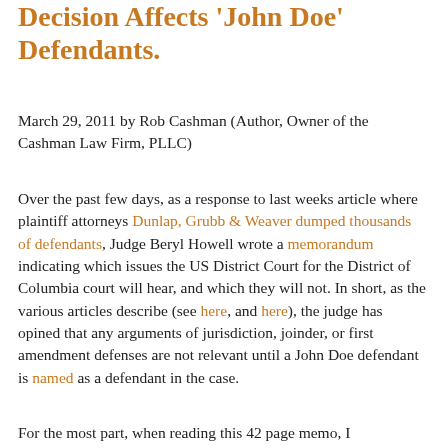Decision Affects 'John Doe' Defendants.
March 29, 2011 by Rob Cashman (Author, Owner of the Cashman Law Firm, PLLC)
Over the past few days, as a response to last weeks article where plaintiff attorneys Dunlap, Grubb & Weaver dumped thousands of defendants, Judge Beryl Howell wrote a memorandum indicating which issues the US District Court for the District of Columbia court will hear, and which they will not. In short, as the various articles describe (see here, and here), the judge has opined that any arguments of jurisdiction, joinder, or first amendment defenses are not relevant until a John Doe defendant is named as a defendant in the case.
For the most part, when reading this 42 page memo, I